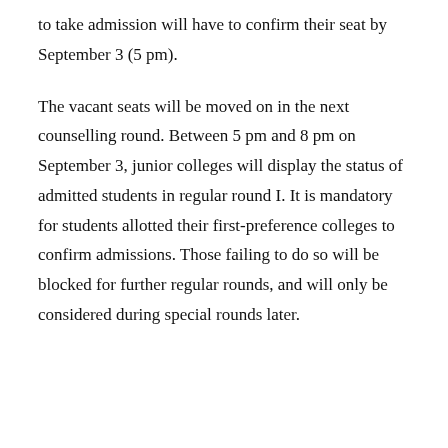to take admission will have to confirm their seat by September 3 (5 pm).
The vacant seats will be moved on in the next counselling round. Between 5 pm and 8 pm on September 3, junior colleges will display the status of admitted students in regular round I. It is mandatory for students allotted their first-preference colleges to confirm admissions. Those failing to do so will be blocked for further regular rounds, and will only be considered during special rounds later.